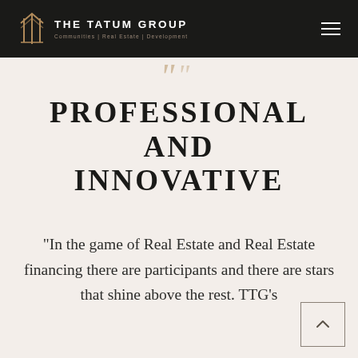THE TATUM GROUP — Communities | Real Estate | Development
PROFESSIONAL AND INNOVATIVE
"In the game of Real Estate and Real Estate financing there are participants and there are stars that shine above the rest. TTG's